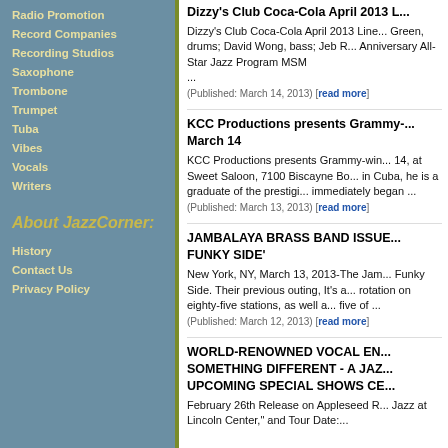Radio Promotion
Record Companies
Recording Studios
Saxophone
Trombone
Trumpet
Tuba
Vibes
Vocals
Writers
About JazzCorner:
History
Contact Us
Privacy Policy
Dizzy's Club Coca-Cola April 2013 L...
Dizzy's Club Coca-Cola April 2013 Line... Green, drums; David Wong, bass; Jeb R... Anniversary All-Star Jazz Program MSM ...
(Published: March 14, 2013) [read more]
KCC Productions presents Grammy-... March 14
KCC Productions presents Grammy-win... 14, at Sweet Saloon, 7100 Biscayne Bo... in Cuba, he is a graduate of the prestigi... immediately began ...
(Published: March 13, 2013) [read more]
JAMBALAYA BRASS BAND ISSUE... FUNKY SIDE'
New York, NY, March 13, 2013-The Jam... Funky Side. Their previous outing, It's a... rotation on eighty-five stations, as well a... five of ...
(Published: March 12, 2013) [read more]
WORLD-RENOWNED VOCAL EN... SOMETHING DIFFERENT - A JAZ... UPCOMING SPECIAL SHOWS CE...
February 26th Release on Appleseed R... Jazz at Lincoln Center," and Tour Date:...